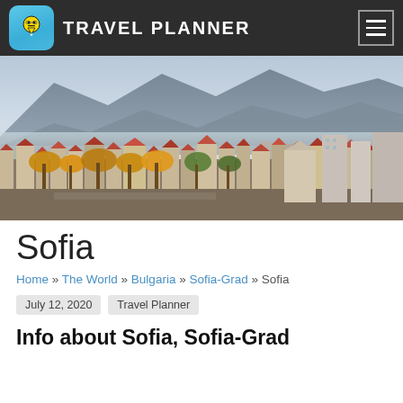TRAVEL PLANNER
[Figure (photo): Aerial panoramic view of Sofia city with red rooftop buildings, trees, and a mountain range in the background under a hazy sky]
Sofia
Home » The World » Bulgaria » Sofia-Grad » Sofia
July 12, 2020   Travel Planner
Info about Sofia, Sofia-Grad